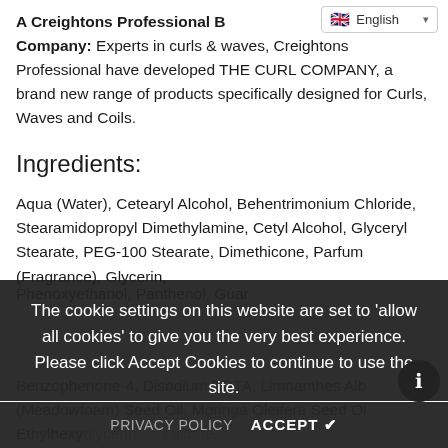A Creightons Professional [B... Company: Experts in curls & waves, Creightons Professional have developed THE CURL COMPANY, a brand new range of products specifically designed for Curls, Waves and Coils.
Ingredients:
Aqua (Water), Cetearyl Alcohol, Behentrimonium Chloride, Stearamidopropyl Dimethylamine, Cetyl Alcohol, Glyceryl Stearate, PEG-100 Stearate, Dimethicone, Parfum (Fragrance), Glycerin, Phenoxyethanol, Panthenol, Guar ... Benzophenone-4, Disodium EDTA, Limnanthes Alba (Meadowfoam) Seed Oil, Moringa Oleifera Seed Oil, Ethylhexylglycerin, ... Lactate, ...
The cookie settings on this website are set to 'allow all cookies' to give you the very best experience. Please click Accept Cookies to continue to use the site.
PRIVACY POLICY   ACCEPT ✔